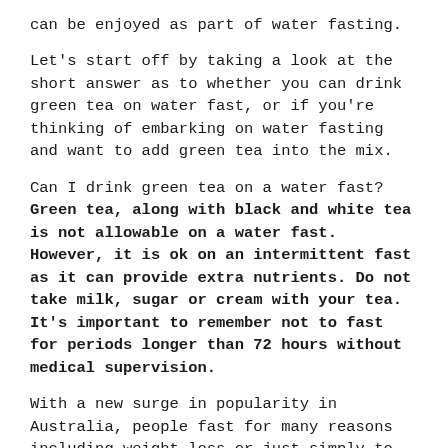can be enjoyed as part of water fasting.
Let's start off by taking a look at the short answer as to whether you can drink green tea on water fast, or if you're thinking of embarking on water fasting and want to add green tea into the mix.
Can I drink green tea on a water fast? Green tea, along with black and white tea is not allowable on a water fast. However, it is ok on an intermittent fast as it can provide extra nutrients. Do not take milk, sugar or cream with your tea. It's important to remember not to fast for periods longer than 72 hours without medical supervision.
With a new surge in popularity in Australia, people fast for many reasons including weight loss or just simply to kick start your metabolism and give your body a rest from the trials of digestion!